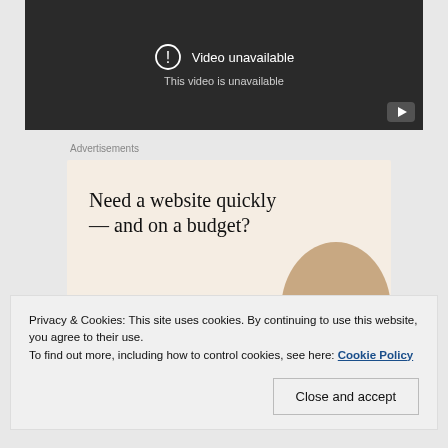[Figure (screenshot): YouTube video player showing 'Video unavailable - This video is unavailable' error message on dark background with YouTube logo button]
Advertisements
[Figure (screenshot): Advertisement with beige background showing text 'Need a website quickly — and on a budget? Let us build it for you' with a person's photo]
Privacy & Cookies: This site uses cookies. By continuing to use this website, you agree to their use. To find out more, including how to control cookies, see here: Cookie Policy
Close and accept